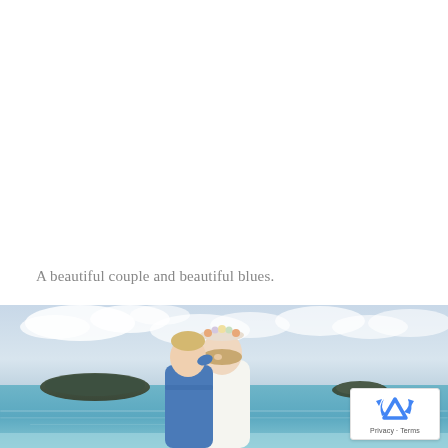A beautiful couple and beautiful blues.
[Figure (photo): A couple on a beach with blue water and cloudy sky. The woman wears a floral crown and white dress; the man in blue leans in close. Islands visible in the background.]